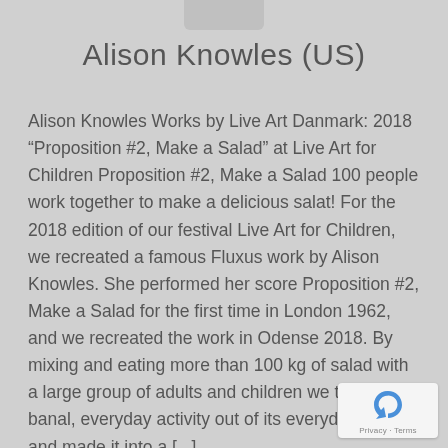Alison Knowles (US)
Alison Knowles Works by Live Art Danmark: 2018 “Proposition #2, Make a Salad” at Live Art for Children Proposition #2, Make a Salad 100 people work together to make a delicious salat! For the 2018 edition of our festival Live Art for Children, we recreated a famous Fluxus work by Alison Knowles. She performed her score Proposition #2, Make a Salad for the first time in London 1962, and we recreated the work in Odense 2018. By mixing and eating more than 100 kg of salad with a large group of adults and children we took a banal, everyday activity out of its everyday context and made it into a [...]